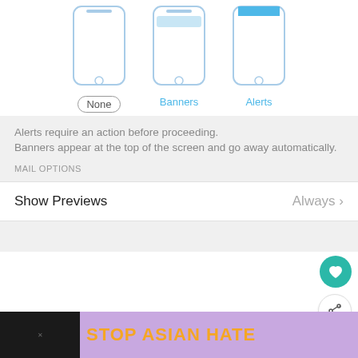[Figure (screenshot): iOS notification style picker showing three phone outlines labeled None (selected with border), Banners, Alerts]
Alerts require an action before proceeding.
Banners appear at the top of the screen and go away automatically.
MAIL OPTIONS
Show Previews
Always
[Figure (screenshot): COVID-19 vaccine ad banner: It's okay to question. Now get the facts on COVID-19 vaccines. GetVaccine...]
[Figure (screenshot): WHAT'S NEXT → Why is There a Number on ...]
[Figure (screenshot): STOP ASIAN HATE purple banner with flowers and woman illustration]